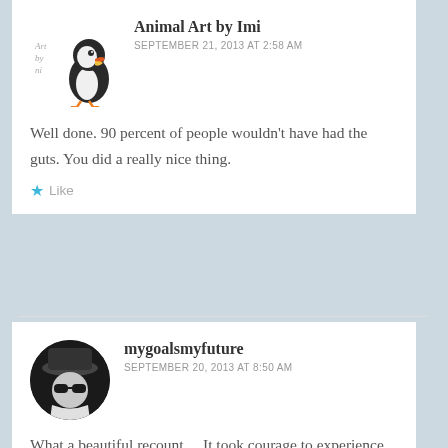[Figure (illustration): Puffin bird illustration with 'Art by Imi' handwritten text]
Animal Art by Imi
SEPTEMBER 21, 2013 AT 2:58 AM
Well done. 90 percent of people wouldn't have had the guts. You did a really nice thing.
Like
[Figure (photo): Round avatar photo of person wearing sunglasses and hat, black and white]
mygoalsmyfuture
SEPTEMBER 20, 2013 AT 8:50 AM
What a beautiful recount… It took courage to experience and courage to share – thank you. I clicked on your article as homelessness is an area I would like to be more involved with in my